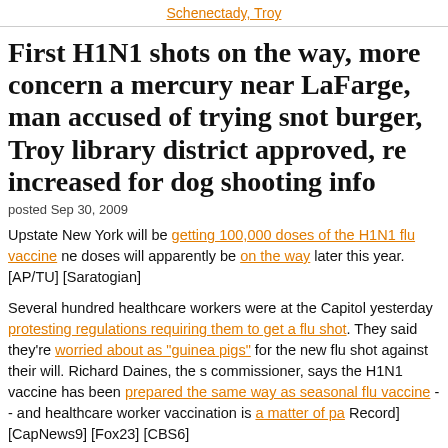Schenectady, Troy
First H1N1 shots on the way, more concern a mercury near LaFarge, man accused of trying snot burger, Troy library district approved, re increased for dog shooting info
posted Sep 30, 2009
Upstate New York will be getting 100,000 doses of the H1N1 flu vaccine ne doses will apparently be on the way later this year. [AP/TU] [Saratogian]
Several hundred healthcare workers were at the Capitol yesterday protesting regulations requiring them to get a flu shot. They said they're worried about as "guinea pigs" for the new flu shot against their will. Richard Daines, the s commissioner, says the H1N1 vaccine has been prepared the same way as seasonal flu vaccine -- and healthcare worker vaccination is a matter of pa Record] [CapNews9] [Fox23] [CBS6]
State wildlife pathologist Ward Stone reported yesterday that tests he perfo samples from the neighborhoods near the LaFarge cement plant in Ravena elevated levels of mercury. Stone says much of the mercury is from the pla